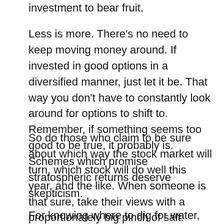investment to bear fruit.
Less is more. There's no need to keep moving money around. If invested in good options in a diversified manner, just let it be. That way you don't have to constantly look around for options to shift to. Remember, if something seems too good to be true, it probably is. Schemes which promise stratospheric returns deserve skepticism.
So do those who claim to be sure about which way the stock market will turn, which stock will do well this year, and the like. When someone is that sure, take their views with a proportionately big pinch of salt.
For knowing where to dig for water, people would